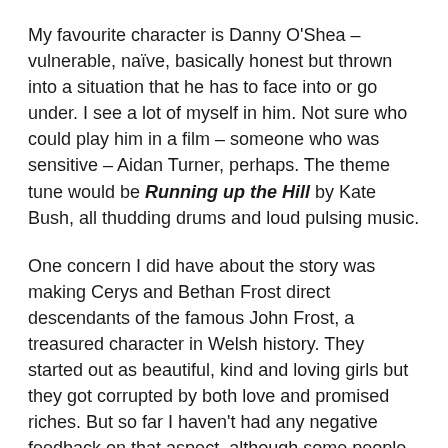My favourite character is Danny O'Shea – vulnerable, naïve, basically honest but thrown into a situation that he has to face into or go under. I see a lot of myself in him. Not sure who could play him in a film – someone who was sensitive – Aidan Turner, perhaps. The theme tune would be Running up the Hill by Kate Bush, all thudding drums and loud pulsing music.
One concern I did have about the story was making Cerys and Bethan Frost direct descendants of the famous John Frost, a treasured character in Welsh history. They started out as beautiful, kind and loving girls but they got corrupted by both love and promised riches. But so far I haven't had any negative feedback on that aspect, although some people thought the sudden sex and brutal violence should have been flagged up in the blurb.